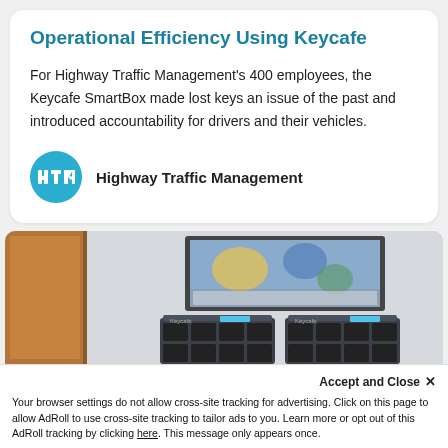Operational Efficiency Using Keycafe
For Highway Traffic Management's 400 employees, the Keycafe SmartBox made lost keys an issue of the past and introduced accountability for drivers and their vehicles.
[Figure (logo): Highway Traffic Management circular blue logo with HTM initials, followed by bold text 'Highway Traffic Management']
[Figure (photo): Office interior photo showing Keycafe SmartBox key management devices mounted on a wall, with a framed artwork above them and a wooden door to the left.]
Accept and Close ✕
Your browser settings do not allow cross-site tracking for advertising. Click on this page to allow AdRoll to use cross-site tracking to tailor ads to you. Learn more or opt out of this AdRoll tracking by clicking here. This message only appears once.